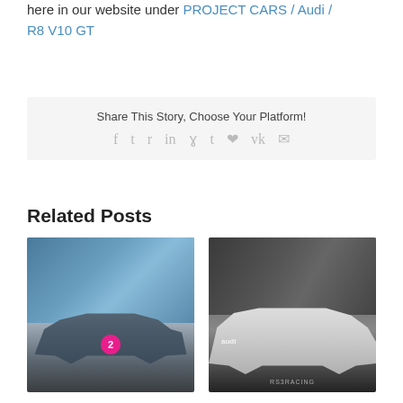here in our website under PROJECT CARS / Audi / R8 V10 GT
Share This Story, Choose Your Platform!
[Figure (other): Social share icons: facebook, twitter, reddit, linkedin, whatsapp, tumblr, pinterest, vk, email]
Related Posts
[Figure (photo): Grey Porsche 911 race car with number 2 circle, side profile, in front of blue-windowed building]
[Figure (photo): White Audi RS3 sedan, side profile, on dark background, with RS3 branding at bottom]